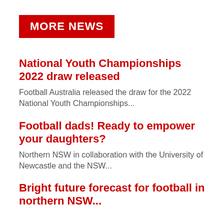MORE NEWS
National Youth Championships 2022 draw released
Football Australia released the draw for the 2022 National Youth Championships...
Football dads! Ready to empower your daughters?
Northern NSW in collaboration with the University of Newcastle and the NSW...
Bright future forecast for football in northern NSW...